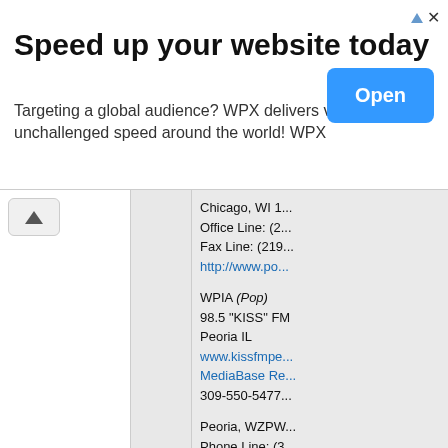[Figure (screenshot): Advertisement banner: 'Speed up your website today' with Open button and WPX hosting text]
Chicago, WI...
Office Line: (2...
Fax Line: (219...
http://www.po...
WPIA (Pop)
98.5 "KISS" FM
Peoria IL
www.kissfmpe...
MediaBase Re...
309-550-5477...
Peoria, WZPW...
Phone Line: (3...
http://www.po...
Rockford, WZC...
Request Line:...
Office Line: 81...
Fax Line: 815-...